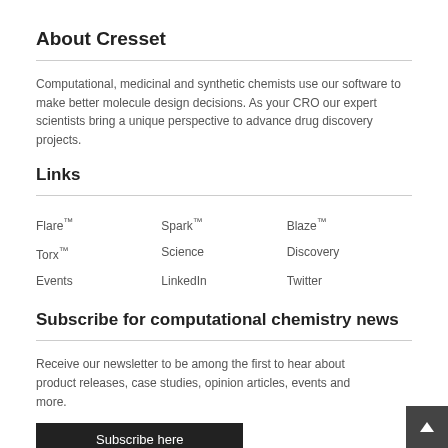About Cresset
Computational, medicinal and synthetic chemists use our software to make better molecule design decisions. As your CRO our expert scientists bring a unique perspective to advance drug discovery projects.
Links
Flare™
Spark™
Blaze™
Torx™
Science
Discovery
Events
LinkedIn
Twitter
Subscribe for computational chemistry news
Receive our newsletter to be among the first to hear about product releases, case studies, opinion articles, events and more.
Subscribe here